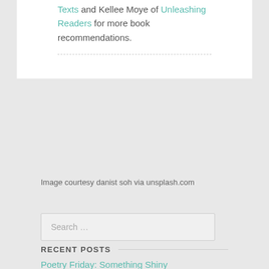Texts and Kellee Moye of Unleashing Readers for more book recommendations.
Image courtesy danist soh via unsplash.com
Search ...
RECENT POSTS
Poetry Friday: Something Shiny